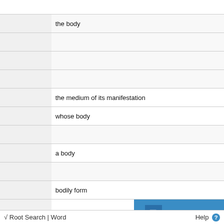|  | the body |
|  |  |
|  |  |
|  |  |
|  | the medium of its manifestation |
|  | whose body |
|  |  |
|  | a body |
|  |  |
|  | bodily form |
|  | body |
√ Root Search | Word    Help ?